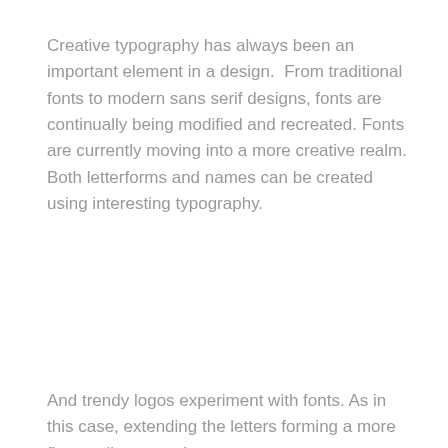Creative typography has always been an important element in a design.  From traditional fonts to modern sans serif designs, fonts are continually being modified and recreated. Fonts are currently moving into a more creative realm. Both letterforms and names can be created using interesting typography.
And trendy logos experiment with fonts. As in this case, extending the letters forming a more fluent, vibrant, and